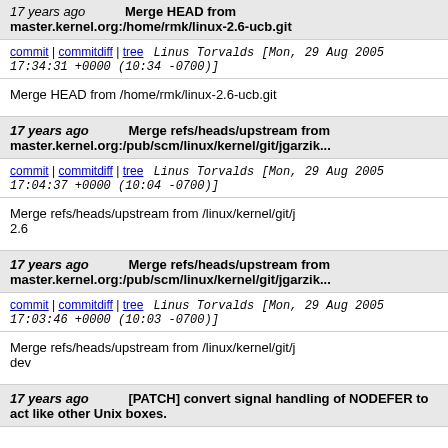17 years ago   Merge HEAD from master.kernel.org:/home/rmk/linux-2.6-ucb.git
commit | commitdiff | tree   Linus Torvalds [Mon, 29 Aug 2005 17:34:31 +0000 (10:34 -0700)]
Merge HEAD from /home/rmk/linux-2.6-ucb.git
17 years ago   Merge refs/heads/upstream from master.kernel.org:/pub/scm/linux/kernel/git/jgarzik...
commit | commitdiff | tree   Linus Torvalds [Mon, 29 Aug 2005 17:04:37 +0000 (10:04 -0700)]
Merge refs/heads/upstream from /linux/kernel/git/j 2.6
17 years ago   Merge refs/heads/upstream from master.kernel.org:/pub/scm/linux/kernel/git/jgarzik...
commit | commitdiff | tree   Linus Torvalds [Mon, 29 Aug 2005 17:03:46 +0000 (10:03 -0700)]
Merge refs/heads/upstream from /linux/kernel/git/j dev
17 years ago   [PATCH] convert signal handling of NODEFER to act like other Unix boxes.